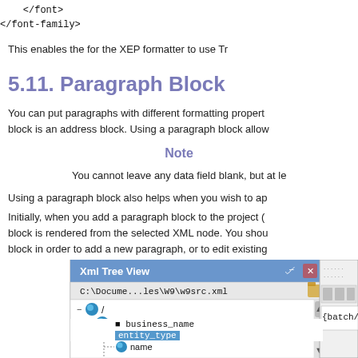</font>
</font-family>
This enables the for the XEP formatter to use Tr
5.11. Paragraph Block
You can put paragraphs with different formatting propert... block is an address block. Using a paragraph block allow
Note
You cannot leave any data field blank, but at le
Using a paragraph block also helps when you wish to ap
Initially, when you add a paragraph block to the project ( block is rendered from the selected XML node. You shou block in order to add a new paragraph, or to edit existing
[Figure (screenshot): Xml Tree View panel showing C:\Docume...les\W9\w9src.xml with an XML tree expanded showing nodes: /, W9, version, name, business_name, entity_type, and partially visible next node. A portion of another panel is visible on the right showing {batch/W9.]